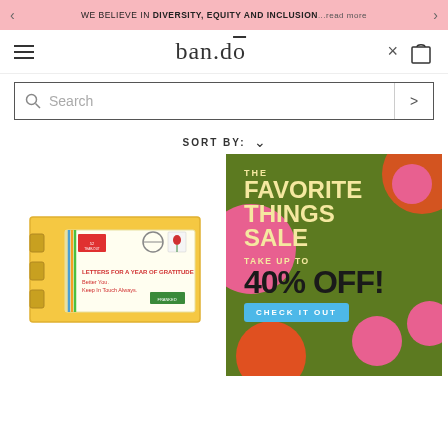WE BELIEVE IN DIVERSITY, EQUITY AND INCLUSION...read more
ban.do
Search
SORT BY:
[Figure (photo): Product image: Letters for a Year of Gratitude box set, yellow envelope-style box with colorful stripe details, postmark stamp, and red tulip graphic]
[Figure (infographic): THE FAVORITE THINGS SALE - TAKE UP TO 40% OFF! CHECK IT OUT - promotional banner with green background, pink flower decorations, cream/yellow text]